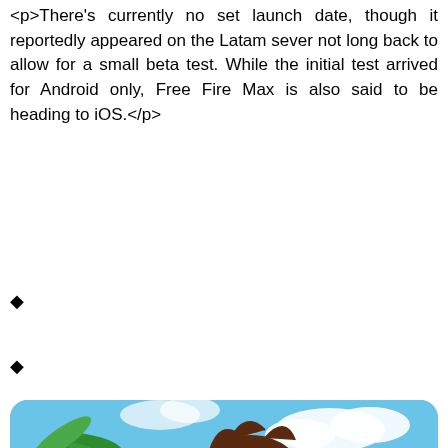<p>There's currently no set launch date, though it reportedly appeared on the Latam sever not long back to allow for a small beta test. While the initial test arrived for Android only, Free Fire Max is also said to be heading to iOS.</p>
◆
◆
[Figure (illustration): Game screenshot showing a cartoon character with brown and red armor, goggles with a large red lens, set against a blue sky background with a palm tree on the left side. A close (×) button appears in the bottom right corner of the image.]